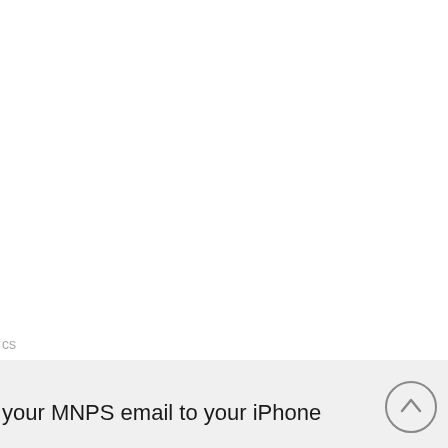cs
your MNPS email to your iPhone
[Figure (other): Circular up-arrow button/icon]